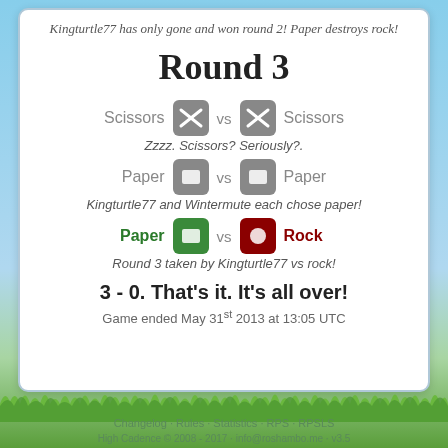Kingturtle77 has only gone and won round 2! Paper destroys rock!
Round 3
[Figure (illustration): Scissors icon (gray rounded square) vs Scissors icon (gray rounded square) with 'Scissors vs Scissors' labels]
Zzzz. Scissors? Seriously?.
[Figure (illustration): Paper icon (gray rounded square) vs Paper icon (gray rounded square) with 'Paper vs Paper' labels]
Kingturtle77 and Wintermute each chose paper!
[Figure (illustration): Paper icon (green rounded square) vs Rock icon (dark red rounded square) with 'Paper vs Rock' labels in green and red]
Round 3 taken by Kingturtle77 vs rock!
3 - 0. That's it. It's all over!
Game ended May 31st 2013 at 13:05 UTC
Changelog · Rules · Statistics · RPS · RPSLS
High Cadence © 2008 - 2017 · info@roshambo.me · v3.5